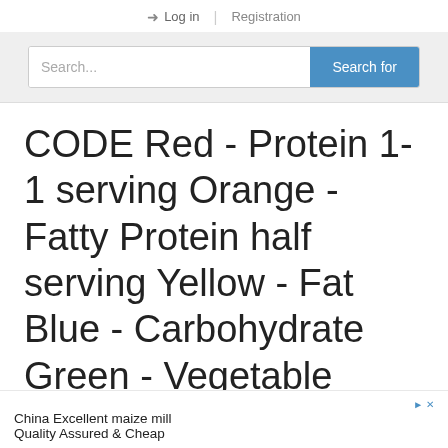Log in | Registration
[Figure (screenshot): Search bar with text input placeholder 'Search...' and blue 'Search for' button on a light grey background]
CODE Red - Protein 1-1 serving Orange - Fatty Protein half serving Yellow - Fat Blue - Carbohydrate Green - Vegetable
China Excellent maize mill
Quality Assured & Cheap